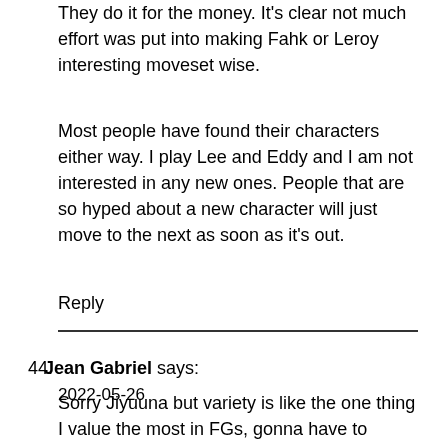They do it for the money. It's clear not much effort was put into making Fahk or Leroy interesting moveset wise.
Most people have found their characters either way. I play Lee and Eddy and I am not interested in any new ones. People that are so hyped about a new character will just move to the next as soon as it's out.
Reply
44. Jean Gabriel says: 2022-05-26
Sorry Jiyuuna but variety is like the one thing I value the most in FGs, gonna have to disagree on that one. Keep em coming as long as they can!